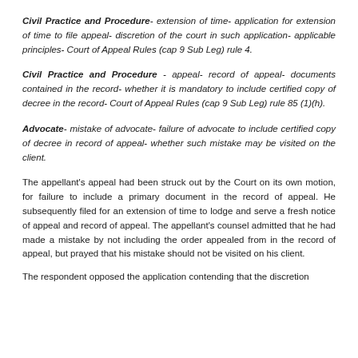Civil Practice and Procedure- extension of time- application for extension of time to file appeal- discretion of the court in such application- applicable principles- Court of Appeal Rules (cap 9 Sub Leg) rule 4.
Civil Practice and Procedure - appeal- record of appeal- documents contained in the record- whether it is mandatory to include certified copy of decree in the record- Court of Appeal Rules (cap 9 Sub Leg) rule 85 (1)(h).
Advocate- mistake of advocate- failure of advocate to include certified copy of decree in record of appeal- whether such mistake may be visited on the client.
The appellant’s appeal had been struck out by the Court on its own motion, for failure to include a primary document in the record of appeal. He subsequently filed for an extension of time to lodge and serve a fresh notice of appeal and record of appeal. The appellant’s counsel admitted that he had made a mistake by not including the order appealed from in the record of appeal, but prayed that his mistake should not be visited on his client.
The respondent opposed the application contending that the discretion